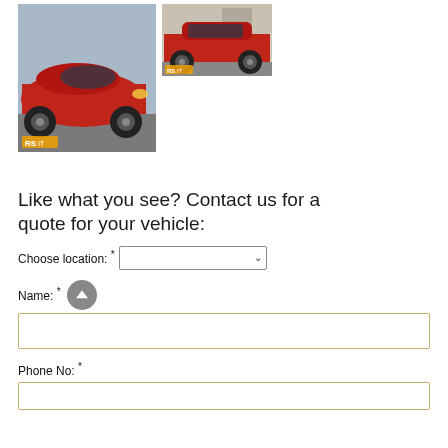[Figure (photo): Two photos of a red sports car. Left photo: large angled overhead/front view of a red sports car with watermark 'RS IT'. Right photo: side profile view of the same red sports car with a dark wheel and watermark 'RS IT'.]
Like what you see? Contact us for a quote for your vehicle:
Choose location: *
Name: *
Phone No: *